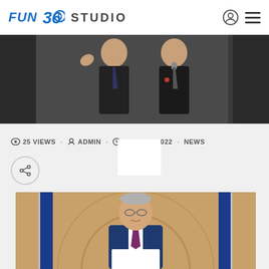FUN 360 STUDIO
[Figure (photo): Two men in dark suits at a podium or stage, one waving, the other speaking into a microphone]
25 VIEWS · ADMIN · JUNE 23, 2022 · NEWS
[Figure (photo): Man in blue suit with grey hair standing at a podium holding papers, with blue flags in background]